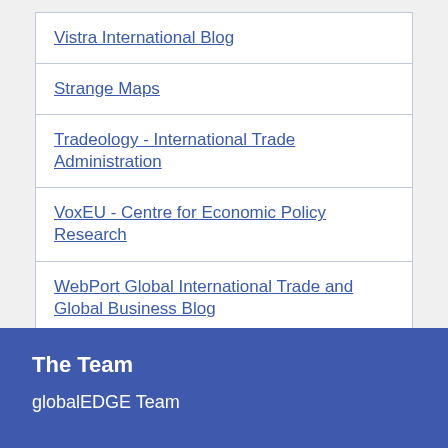Vistra International Blog
Strange Maps
Tradeology - International Trade Administration
VoxEU - Centre for Economic Policy Research
WebPort Global International Trade and Global Business Blog
World Economic Forum Agenda
The Team
globalEDGE Team